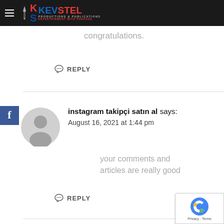KEVSTEL PRODUCTIONS & PUBLICATIONS ENTERTAINMENT WITH PURPOSE
congratulations.
REPLY
instagram takipçi satın al says:
August 16, 2021 at 1:44 pm
your comments and articles are really good
REPLY